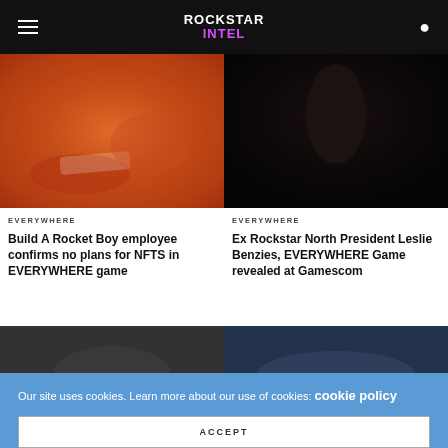ROCKSTAR INTEL
[Figure (photo): Blurred warm orange image showing what appears to be a toy car or vehicle on ground]
EVERYWHERE
Build A Rocket Boy employee confirms no plans for NFTS in EVERYWHERE game
[Figure (photo): Very dark near-black image with subtle shadowy figure]
EVERYWHERE
Ex Rockstar North President Leslie Benzies, EVERYWHERE Game revealed at Gamescom
[Figure (photo): Dark grey blurred screenshot thumbnail]
[Figure (photo): Dark blue blurred screenshot thumbnail]
Our site uses cookies. Learn more about our use of cookies: cookie policy
ACCEPT